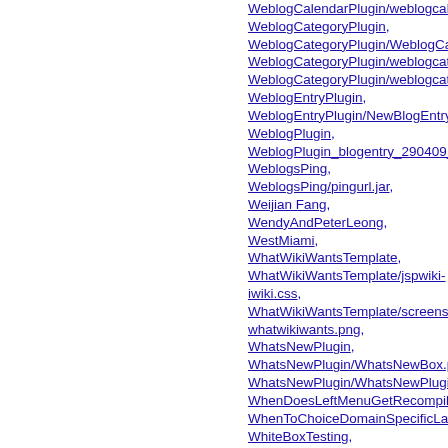WeblogCalendarPlugin/weblogcalendar.css, WeblogCategoryPlugin, WeblogCategoryPlugin/WeblogCategoryPlugin.java, WeblogCategoryPlugin/weblogcategory.jar, WeblogCategoryPlugin/weblogcategoryplugin.png, WeblogEntryPlugin, WeblogEntryPlugin/NewBlogEntry.jsp, WeblogPlugin, WeblogPlugin_blogentry_290409_1, WeblogsPing, WeblogsPing/pingurl.jar, Weijian Fang, WendyAndPeterLeong, WestMiami, WhatWikiWantsTemplate, WhatWikiWantsTemplate/jspwiki-iwiki.css, WhatWikiWantsTemplate/screenshot-whatwikiwants.png, WhatsNewPlugin, WhatsNewPlugin/WhatsNewBox.png, WhatsNewPlugin/WhatsNewPlugin.java, WhenDoesLeftMenuGetRecompiled, WhenToChoiceDomainSpecificLanguage, WhiteBoxTesting, WhiteBoxTexting, WhiteRhino, WhoIsUsingSecurityIn2.1.x, WhyChooseJSPWiki, WhyHavingLogicInJSPWikiJspsIsNotSoEvil, WhyTabsAreEvil, WhyUseDomainSpecificLanguage, WhyUsingThisIsBad, WiPe, WiPeFavorites, WifTransformation, WifTransformation/Example.wif.xml, Wiffel, Wiki Tutorial, Wiki as Project Tracking, WikiAdministration, WikiAdvancedFormatting, WikiArchivePlugin, WikiAsDatabase, WikiAsPERT,